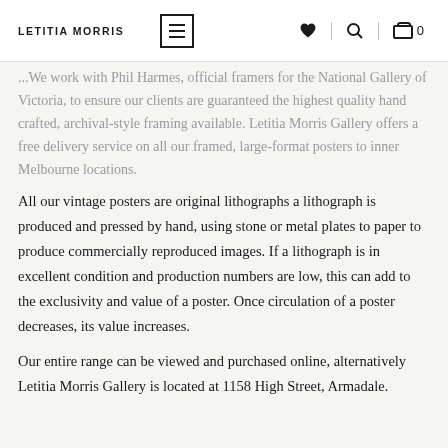LETITIA MORRIS
...We work with Phil Harmes, official framers for the National Gallery of Victoria, to ensure our clients are guaranteed the highest quality hand crafted, archival-style framing available. Letitia Morris Gallery offers a free delivery service on all our framed, large-format posters to inner Melbourne locations.
All our vintage posters are original lithographs a lithograph is produced and pressed by hand, using stone or metal plates to paper to produce commercially reproduced images. If a lithograph is in excellent condition and production numbers are low, this can add to the exclusivity and value of a poster. Once circulation of a poster decreases, its value increases.
Our entire range can be viewed and purchased online, alternatively Letitia Morris Gallery is located at 1158 High Street, Armadale.